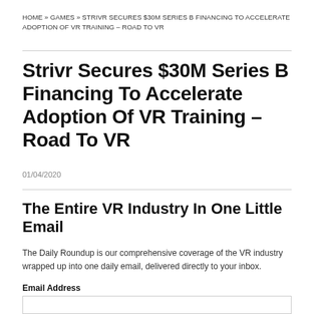HOME » GAMES » STRIVR SECURES $30M SERIES B FINANCING TO ACCELERATE ADOPTION OF VR TRAINING – ROAD TO VR
Strivr Secures $30M Series B Financing To Accelerate Adoption Of VR Training – Road To VR
01/04/2020
The Entire VR Industry In One Little Email
The Daily Roundup is our comprehensive coverage of the VR industry wrapped up into one daily email, delivered directly to your inbox.
Email Address